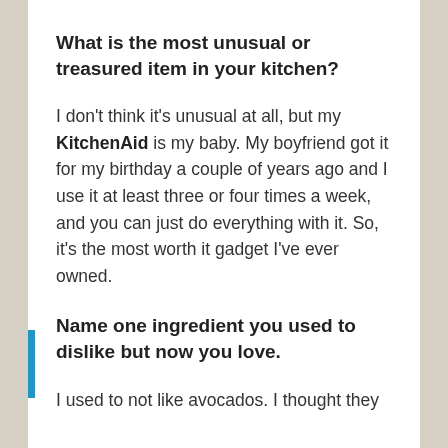What is the most unusual or treasured item in your kitchen?
I don't think it's unusual at all, but my KitchenAid is my baby. My boyfriend got it for my birthday a couple of years ago and I use it at least three or four times a week, and you can just do everything with it. So, it's the most worth it gadget I've ever owned.
Name one ingredient you used to dislike but now you love.
I used to not like avocados. I thought they